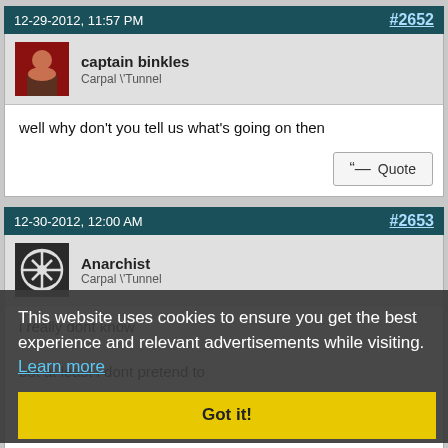12-29-2012, 11:57 PM   #2652
captain binkles
Carpal \'Tunnel
well why don't you tell us what's going on then
12-30-2012, 12:00 AM   #2653
Anarchist
Carpal \'Tunnel
i really dont know

but at least i dont pretend to

theres me and the 3 people i peeked

and im guessing rebonk is a wolf
This website uses cookies to ensure you get the best experience and relevant advertisements while visiting. Learn more
Got it!